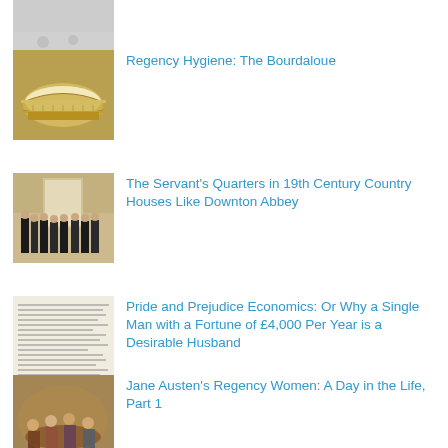[Figure (photo): Partial thumbnail at top, cropped]
Regency Hygiene: The Bourdaloue
[Figure (photo): Gold ornate bourdaloue vessel on white background]
The Servant's Quarters in 19th Century Country Houses Like Downton Abbey
[Figure (photo): Group of people in period servant costumes standing in a grand hall]
Pride and Prejudice Economics: Or Why a Single Man with a Fortune of £4,000 Per Year is a Desirable Husband
[Figure (photo): Handwritten or printed document text, aged paper]
Jane Austen's Regency Women: A Day in the Life, Part 1
[Figure (photo): Painting of Regency-era women gathered around a table in elegant dress]